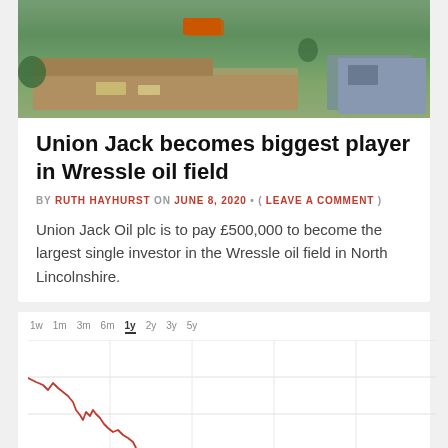[Figure (photo): Aerial photograph of the Wressle oil field site in North Lincolnshire, showing roads, vehicles including an orange truck, green fields, and a building.]
Union Jack becomes biggest player in Wressle oil field
BY RUTH HAYHURST ON JUNE 8, 2020 • ( LEAVE A COMMENT )
Union Jack Oil plc is to pay £500,000 to become the largest single investor in the Wressle oil field in North Lincolnshire.
[Figure (continuous-plot): Stock price line chart showing a declining trend over 1 year period. Time period selector tabs visible: 1w, 1m, 3m, 6m, 1y (selected), 2y, 3y, 5y. The line chart shows a steep decline in red, starting high on the left and trending downward.]